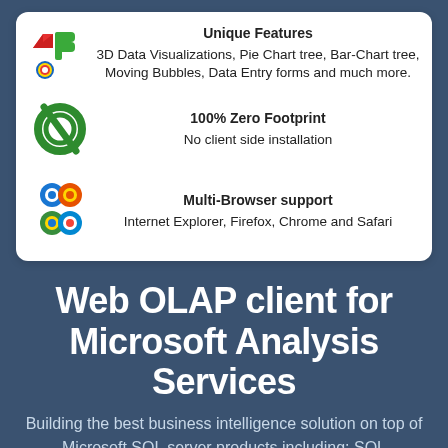Unique Features
3D Data Visualizations, Pie Chart tree, Bar-Chart tree, Moving Bubbles, Data Entry forms and much more.
100% Zero Footprint
No client side installation
Multi-Browser support
Internet Explorer, Firefox, Chrome and Safari
Web OLAP client for Microsoft Analysis Services
Building the best business intelligence solution on top of Microsoft SQL server products including: SQL